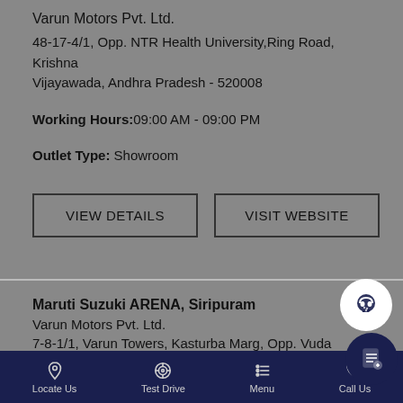Varun Motors Pvt. Ltd.
48-17-4/1, Opp. NTR Health University,Ring Road, Krishna Vijayawada, Andhra Pradesh - 520008
Working Hours:09:00 AM - 09:00 PM
Outlet Type: Showroom
VIEW DETAILS
VISIT WEBSITE
Maruti Suzuki ARENA, Siripuram
Varun Motors Pvt. Ltd.
7-8-1/1, Varun Towers, Kasturba Marg, Opp. Vuda Children Arena,
Locate Us   Test Drive   Menu   Call Us